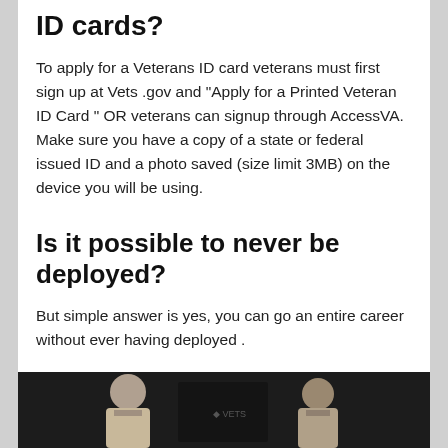ID cards?
To apply for a Veterans ID card veterans must first sign up at Vets .gov and "Apply for a Printed Veteran ID Card " OR veterans can signup through AccessVA. Make sure you have a copy of a state or federal issued ID and a photo saved (size limit 3MB) on the device you will be using.
Is it possible to never be deployed?
But simple answer is yes, you can go an entire career without ever having deployed .
[Figure (photo): Sepia-toned photograph showing two people in military uniforms at the bottom of the page]